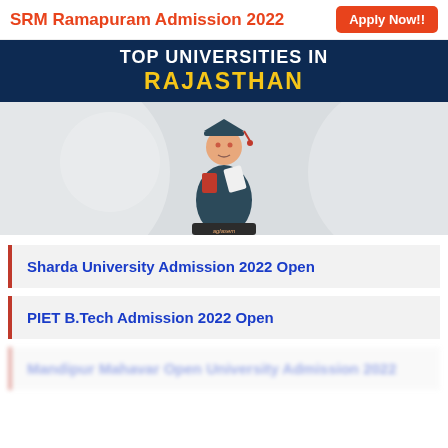SRM Ramapuram Admission 2022  Apply Now!!
[Figure (illustration): Banner image with dark blue header reading 'TOP UNIVERSITIES in RAJASTHAN' (white and yellow text), below which is a light gray background with decorative cylindrical columns and a cartoon graduation figure holding a diploma, with 'aglasem' text on a podium-like shape.]
Sharda University Admission 2022 Open
PIET B.Tech Admission 2022 Open
Mandipur Mahavar Open University Admission 2022